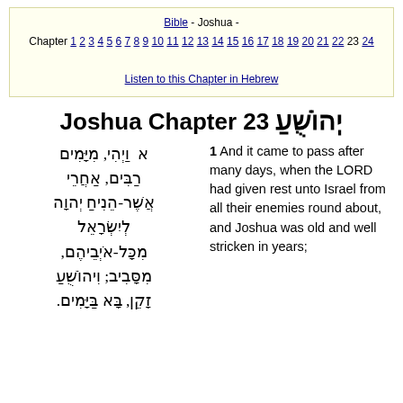Bible - Joshua - Chapter 1 2 3 4 5 6 7 8 9 10 11 12 13 14 15 16 17 18 19 20 21 22 23 24
Listen to this Chapter in Hebrew
Joshua Chapter 23 יְהוֹשֻׁעַ
א  וַיְהִי, מִיָּמִים רַבִּים, אַחֲרֵי אֲשֶׁר-הֵנִיחַ יְהוָה לְיִשְׂרָאֵל מִכָּל-אֹיְבֵיהֶם, מִסָּבִיב; וִיהוֹשֻׁעַ זָקֵן, בָּא בַּיָּמִים.
1 And it came to pass after many days, when the LORD had given rest unto Israel from all their enemies round about, and Joshua was old and well stricken in years;